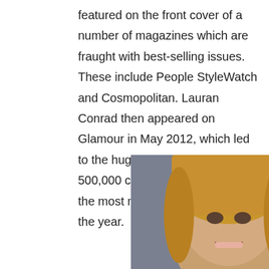featured on the front cover of a number of magazines which are fraught with best-selling issues. These include People StyleWatch and Cosmopolitan. Lauran Conrad then appeared on Glamour in May 2012, which led to the huge sell, approximately 500,000 copies and she became the most massive selling issue of the year.
[Figure (photo): Side-by-side comparison photos of Lauren Conrad, showing two different time periods. Left photo shows her with a casual look against a dark background; right photo shows her with a more polished look against a pink background.]